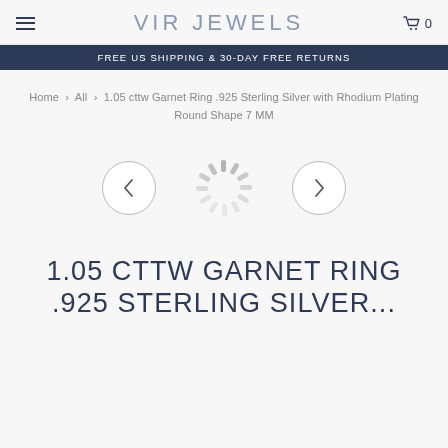VIR JEWELS
FREE US SHIPPING & 30-DAY FREE RETURNS
Home > All > 1.05 cttw Garnet Ring .925 Sterling Silver with Rhodium Plating Round Shape 7 MM
[Figure (other): Image carousel with left arrow button, loading spinner in center, and right arrow button]
1.05 CTTW GARNET RING .925 STERLING SILVER WITH RHODIUM...